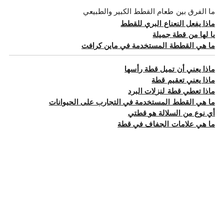ما الفرق بين طعام القطط الكبير والطبيعي
ماذا يفعل النعناع البري للقطط
يا لها من قطة جميلة
ما هي القططة المستخدمة في ماين كرافت
ماذا يعني أن تميل قطة رأسها
ماذا يعني تعقيم قطة
ماذا تعطي قطة لنزلات البرد
ما هي القطط المستخدمة في التجارب على الحيوانات
أي نوع من السلالة هو قطتي
ما هي علامات الجفاف في قطة